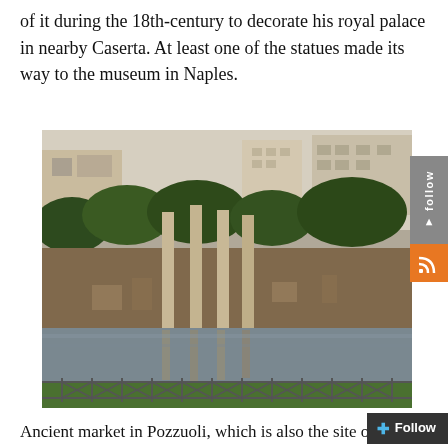of it during the 18th-century to decorate his royal palace in nearby Caserta. At least one of the statues made its way to the museum in Naples.
[Figure (photo): Photograph of the ancient market in Pozzuoli showing Roman ruins with tall stone columns reflected in standing water, with trees and modern buildings visible in the background and a metal fence in the foreground.]
Ancient market in Pozzuoli, which is also the site o...